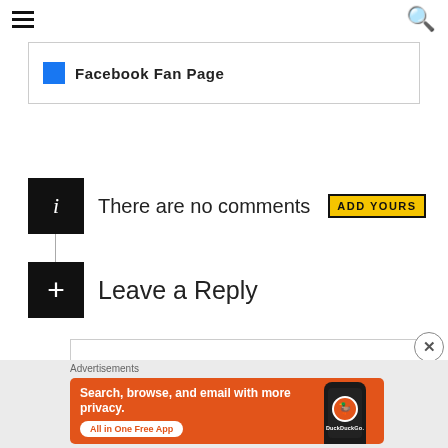≡  🔍
Facebook Fan Page
There are no comments  ADD YOURS
Leave a Reply
[Figure (screenshot): DuckDuckGo advertisement banner: 'Search, browse, and email with more privacy. All in One Free App' with phone image showing DuckDuckGo app]
Advertisements